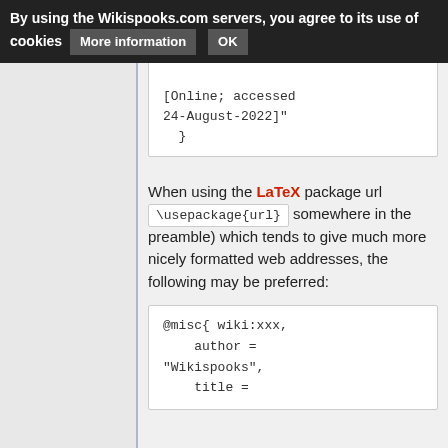By using the Wikispooks.com servers, you agree to its use of cookies   More information   OK
[Online; accessed
24-August-2022]"
  }
When using the LaTeX package url ( \usepackage{url} somewhere in the preamble) which tends to give much more nicely formatted web addresses, the following may be preferred:
@misc{ wiki:xxx,
    author =
"Wikispooks",
    title =